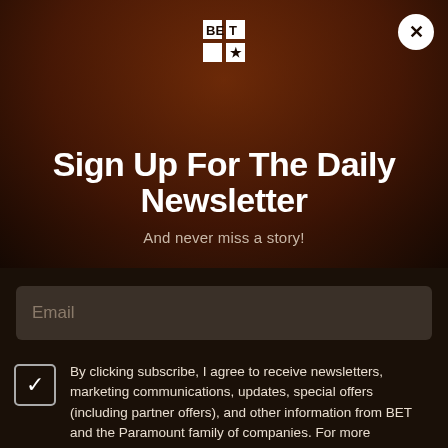[Figure (logo): BET logo in white at top center]
[Figure (photo): Background photo of a person with arms raised, dark brown/orange toned overlay]
Sign Up For The Daily Newsletter
And never miss a story!
Email
By clicking subscribe, I agree to receive newsletters, marketing communications, updates, special offers (including partner offers), and other information from BET and the Paramount family of companies. For more information about our data